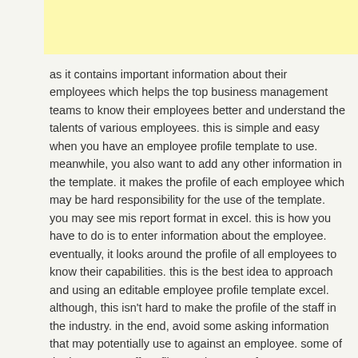[Figure (other): Yellow/cream colored rectangular banner or header block at top of page]
as it contains important information about their employees which helps the top business management teams to know their employees better and understand the talents of various employees. this is simple and easy when you have an employee profile template to use. meanwhile, you also want to add any other information in the template. it makes the profile of each employee which may be hard responsibility for the use of the template. you may see mis report format in excel. this is how you have to do is to enter information about the employee. eventually, it looks around the profile of all employees to know their capabilities. this is the best idea to approach and using an editable employee profile template excel. although, this isn't hard to make the profile of the staff in the industry. in the end, avoid some asking information that may potentially use to against an employee. some of the hopes as staff profile template use after